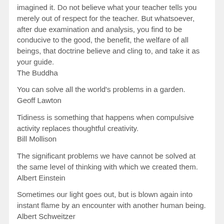imagined it. Do not believe what your teacher tells you merely out of respect for the teacher. But whatsoever, after due examination and analysis, you find to be conducive to the good, the benefit, the welfare of all beings, that doctrine believe and cling to, and take it as your guide.
The Buddha
You can solve all the world's problems in a garden.
Geoff Lawton
Tidiness is something that happens when compulsive activity replaces thoughtful creativity.
Bill Mollison
The significant problems we have cannot be solved at the same level of thinking with which we created them.
Albert Einstein
Sometimes our light goes out, but is blown again into instant flame by an encounter with another human being.
Albert Schweitzer